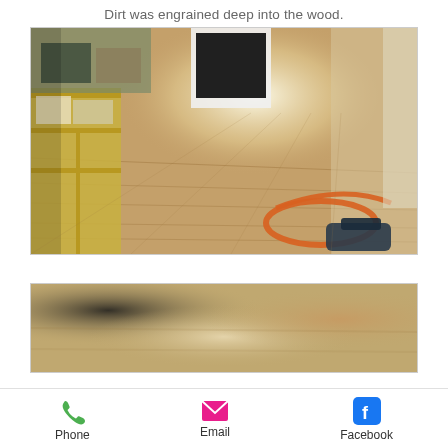Dirt was engrained deep into the wood.
[Figure (photo): Interior room with bare wooden floorboards, yellow shelving unit on the left, bright window in background, orange extension cord and sanding machine on the floor.]
[Figure (photo): Blurred close-up photo of a wooden floor surface being sanded or refinished.]
Phone  Email  Facebook